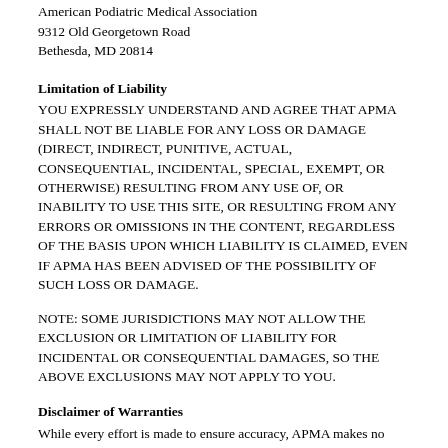American Podiatric Medical Association
9312 Old Georgetown Road
Bethesda, MD 20814
Limitation of Liability
YOU EXPRESSLY UNDERSTAND AND AGREE THAT APMA SHALL NOT BE LIABLE FOR ANY LOSS OR DAMAGE (DIRECT, INDIRECT, PUNITIVE, ACTUAL, CONSEQUENTIAL, INCIDENTAL, SPECIAL, EXEMPT, OR OTHERWISE) RESULTING FROM ANY USE OF, OR INABILITY TO USE THIS SITE, OR RESULTING FROM ANY ERRORS OR OMISSIONS IN THE CONTENT, REGARDLESS OF THE BASIS UPON WHICH LIABILITY IS CLAIMED, EVEN IF APMA HAS BEEN ADVISED OF THE POSSIBILITY OF SUCH LOSS OR DAMAGE.
NOTE: SOME JURISDICTIONS MAY NOT ALLOW THE EXCLUSION OR LIMITATION OF LIABILITY FOR INCIDENTAL OR CONSEQUENTIAL DAMAGES, SO THE ABOVE EXCLUSIONS MAY NOT APPLY TO YOU.
Disclaimer of Warranties
While every effort is made to ensure accuracy, APMA makes no warranty that this Site will meet your requirements or that it will be uninterrupted,